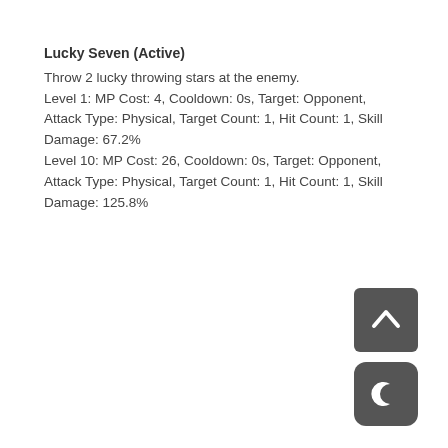Lucky Seven (Active)
Throw 2 lucky throwing stars at the enemy. Level 1: MP Cost: 4, Cooldown: 0s, Target: Opponent, Attack Type: Physical, Target Count: 1, Hit Count: 1, Skill Damage: 67.2% Level 10: MP Cost: 26, Cooldown: 0s, Target: Opponent, Attack Type: Physical, Target Count: 1, Hit Count: 1, Skill Damage: 125.8%
[Figure (illustration): Dark grey square button with upward chevron arrow icon (scroll to top button)]
[Figure (illustration): Dark grey rounded square button with crescent moon icon (dark mode toggle button)]